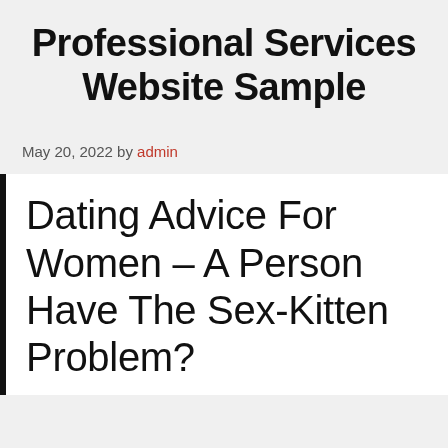Professional Services Website Sample
May 20, 2022 by admin
Dating Advice For Women – A Person Have The Sex-Kitten Problem?